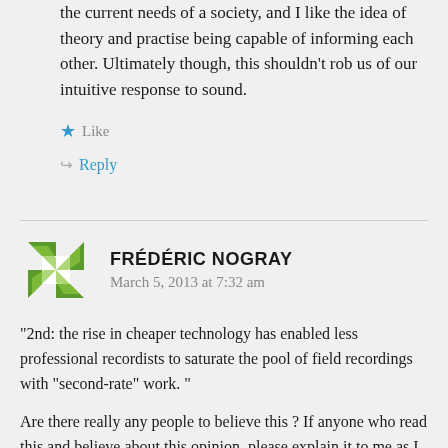the current needs of a society, and I like the idea of theory and practise being capable of informing each other. Ultimately though, this shouldn't rob us of our intuitive response to sound.
★ Like
↪ Reply
FRÉDÉRIC NOGRAY
March 5, 2013 at 7:32 am
“2nd: the rise in cheaper technology has enabled less professional recordists to saturate the pool of field recordings with “second-rate” work. ”
Are there really any people to believe this ? If anyone who read this and believe about this opinion, please explain it to me as I don’t understand it or possible